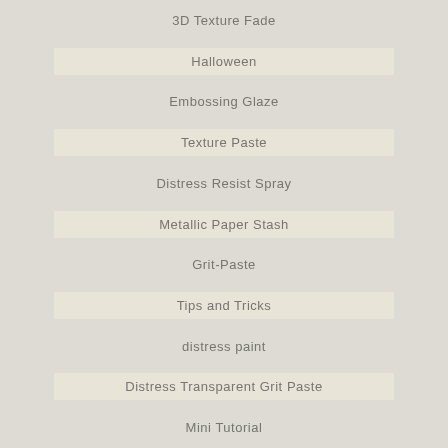3D Texture Fade
Halloween
Embossing Glaze
Texture Paste
Distress Resist Spray
Metallic Paper Stash
Grit-Paste
Tips and Tricks
distress paint
Distress Transparent Grit Paste
Mini Tutorial